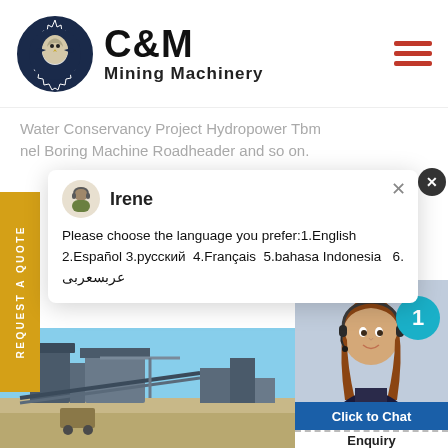[Figure (logo): C&M Mining Machinery logo with eagle icon in circular gear design]
Water Conservancy Project Hydropower Tbm nel Boring Machine Roadheader and so on.
[Figure (screenshot): Chat popup with avatar of Irene, language selection message in English, Español, русский, Français, bahasa Indonesia, and Arabic]
[Figure (photo): Mining machinery equipment at a site]
[Figure (photo): Customer service agent with headset, teal notification badge with number 1, Click to Chat bar, and Enquiry text]